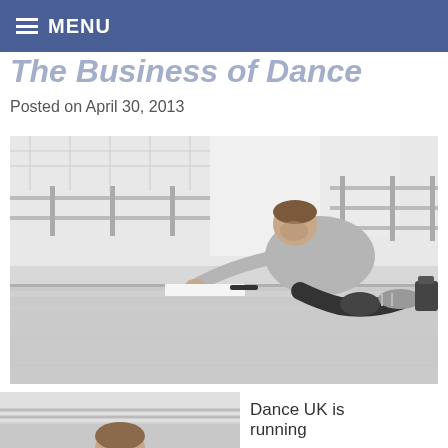MENU
The Business of Dance
Posted on April 30, 2013
[Figure (photo): Black and white photo of a person crouching on the floor of a dance studio, writing or marking something on paper. Ballet barres are visible in the background.]
[Figure (photo): Black and white photo of a person in a dance studio, partially visible at bottom of page.]
Dance UK is running